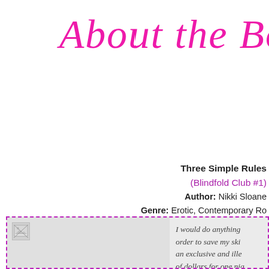About the Bo...
Three Simple Rules
(Blindfold Club #1)
Author: Nikki Sloane
Genre: Erotic, Contemporary Ro...
Length: 238 pages
Release Date: January 26, 2...
[Figure (photo): Book cover image placeholder (broken image icon)]
I would do anything ... order to save my ski... an exclusive and ille... of dollars for one nig... comes off, I want mo... more from this unav...